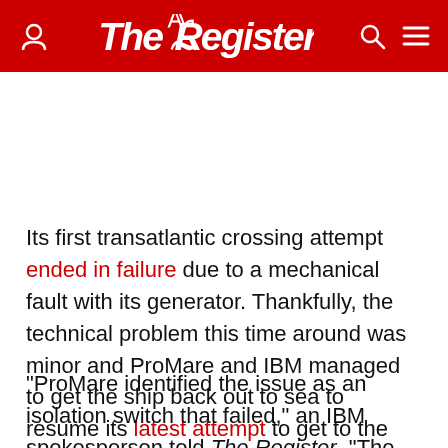The Register
Its first transatlantic crossing attempt ended in failure due to a mechanical fault with its generator. Thankfully, the technical problem this time around was minor and ProMare and IBM managed to get the ship back out to sea to resume its latest attempt to get to the US.
"ProMare identified the issue as an isolation switch that failed," an IBM spokesperson told The Register. "The IBM technology on board remained functioning as